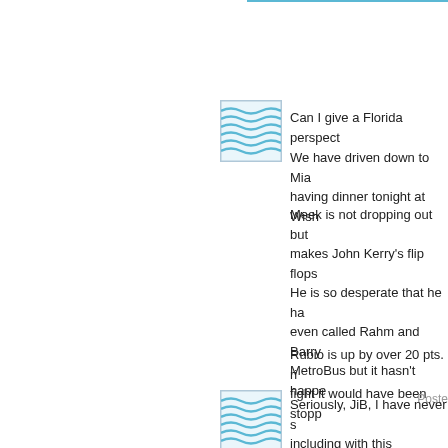[Figure (illustration): Avatar icon with blue wave/water pattern]
Can I give a Florida perspect...
We have driven down to Miam... having dinner tonight at Wish...
Meek is not dropping out but... makes John Kerry's flip flops... He is so desperate that he ha... even called Rahm and Barry... MetroBus but it hasn't happe...
Rubio is up by over 20 pts. ri... fight it would have been stopp...
Poste...
[Figure (illustration): Avatar icon with blue wave/water pattern]
Seriously, JiB, I have never s... including with this trial balloon. He's like one of h... aircraft career